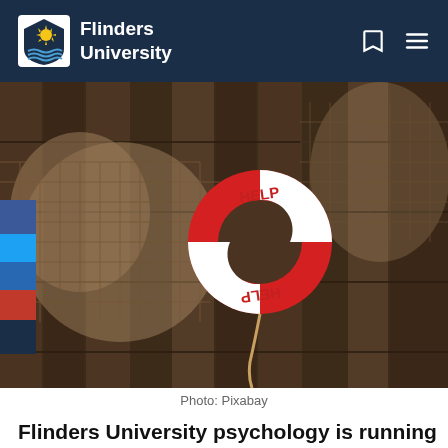Flinders University
[Figure (photo): A red and white life preserver ring marked 'HELP' hanging on a wooden plank fence/wall with fishing nets draped around it.]
Photo: Pixabay
Flinders University psychology is running an online